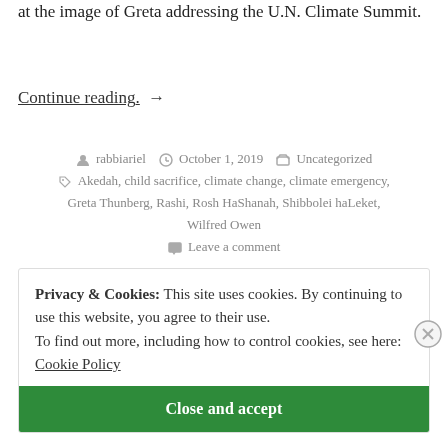at the image of Greta addressing the U.N. Climate Summit.
Continue reading. →
rabbiariel  October 1, 2019  Uncategorized  Akedah, child sacrifice, climate change, climate emergency, Greta Thunberg, Rashi, Rosh HaShanah, Shibbolei haLeket, Wilfred Owen  Leave a comment
Privacy & Cookies: This site uses cookies. By continuing to use this website, you agree to their use. To find out more, including how to control cookies, see here: Cookie Policy
Close and accept